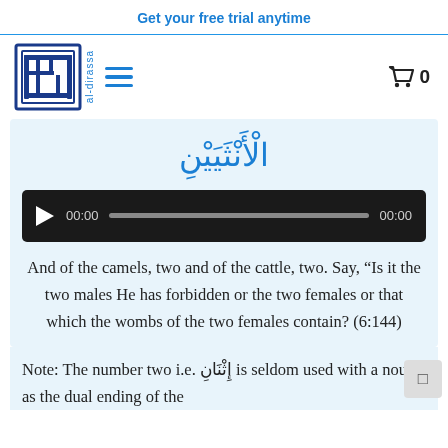Get your free trial anytime
[Figure (logo): al-dirassa logo: blue geometric Arabic calligraphy square logo with 'al-dirassa' text]
الْأَنْثَيَيْنِ
[Figure (other): Audio player with play button, 00:00 timestamp, progress bar, and 00:00 end time on dark background]
And of the camels, two and of the cattle, two. Say, "Is it the two males He has forbidden or the two females or that which the wombs of the two females contain? (6:144)
Note: The number two i.e. إِثْنَانِ is seldom used with a noun as the dual ending of the